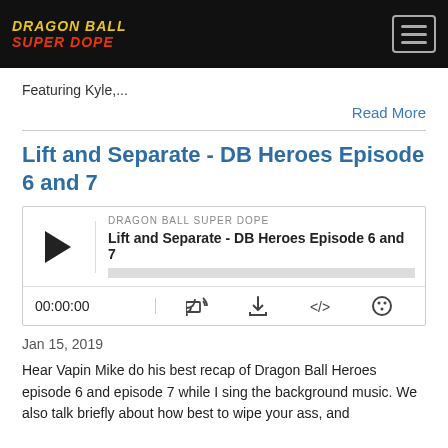Dragon Ball Super Dope
Featuring Kyle,...
Read More
Lift and Separate - DB Heroes Episode 6 and 7
[Figure (other): Podcast player widget showing DRAGON BALL SUPER DOPE podcast, episode 'Lift and Separate - DB Heroes Episode 6 and 7', with play button, progress bar, time 00:00:00, and control icons for cast, download, embed, and settings.]
Jan 15, 2019
Hear Vapin Mike do his best recap of Dragon Ball Heroes episode 6 and episode 7 while I sing the background music. We also talk briefly about how best to wipe your ass, and